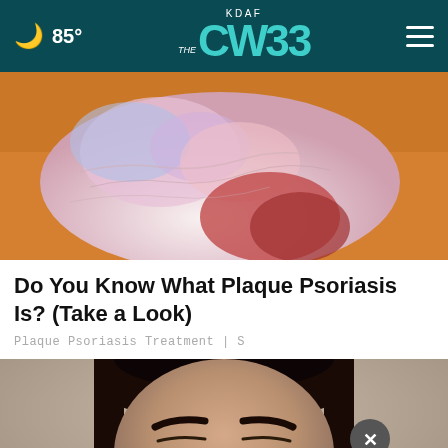🌙 85° | KDAF CW33 | ≡
[Figure (photo): Close-up photo of a foot/heel showing red, inflamed skin with colorful markings indicating plaque psoriasis]
Do You Know What Plaque Psoriasis Is? (Take a Look)
Plaque Psoriasis Treatment | S
[Figure (photo): Close-up photo of a young woman's face with dark hair and bold eyebrows, with a close button overlay]
Ashburn OPEN | 7:30AM–6PM
43781 Parkhurst Plaza, Ashburn